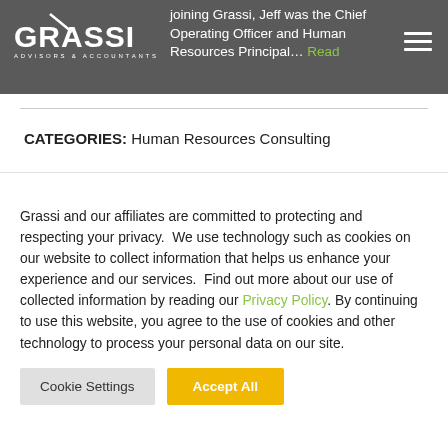joining Grassi, Jeff was the Chief Operating Officer and Human Resources Principal... Read
[Figure (logo): Grassi Advisors & Accountants logo in white on dark grey background]
CATEGORIES: Human Resources Consulting
Grassi and our affiliates are committed to protecting and respecting your privacy.  We use technology such as cookies on our website to collect information that helps us enhance your experience and our services.  Find out more about our use of collected information by reading our Privacy Policy. By continuing to use this website, you agree to the use of cookies and other technology to process your personal data on our site.
Cookie Settings   Accept All